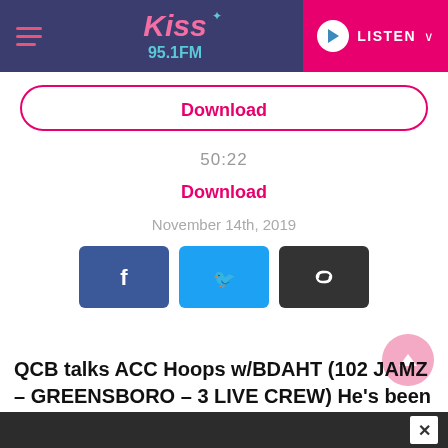Kiss 95.1 FM — LISTEN
Download
50:22
Download
November 14th, 2019
[Figure (infographic): Social share buttons: Facebook (blue), Twitter (cyan), and a link/copy button (dark gray)]
QCB talks ACC Hoops w/BDAHT (102 JAMZ – GREENSBORO – 3 LIVE CREW) He's been on the airwaves and covering the ACC for years